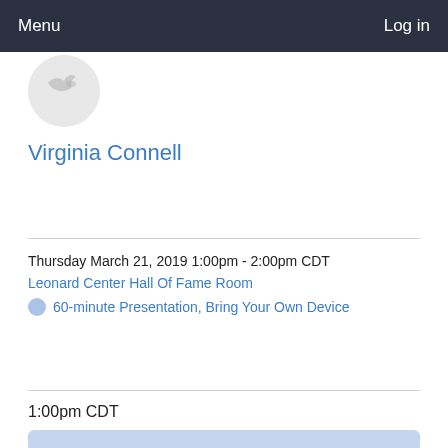Menu   Log in
[Figure (illustration): Circular avatar placeholder with partial icons visible]
Virginia Connell
Thursday March 21, 2019 1:00pm - 2:00pm CDT
Leonard Center Hall Of Fame Room
60-minute Presentation, Bring Your Own Device
1:00pm CDT
The Escape Room: Supporting Student Success Through a Game-based Immersive Experience